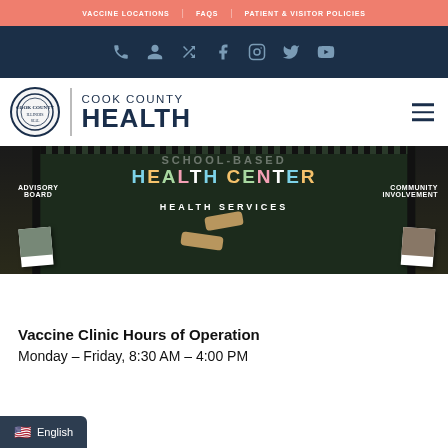VACCINE LOCATIONS   FAQS   PATIENT & VISITOR POLICIES
[Figure (screenshot): Navy icon bar with phone, person, shuffle, Facebook, Instagram, Twitter, YouTube icons in light blue/grey on dark navy background]
[Figure (logo): Cook County Health logo with circular seal on left, vertical divider, and COOK COUNTY HEALTH text on right. Hamburger menu icon top right.]
[Figure (photo): Photo of a school-based health center bulletin board showing colorful letters spelling HEALTH CENTER, with ADVISORY BOARD on left, HEALTH SERVICES in center, COMMUNITY INVOLVEMENT on right, and several polaroid-style photos and paper elements.]
Vaccine Clinic Hours of Operation
Monday – Friday, 8:30 AM – 4:00 PM